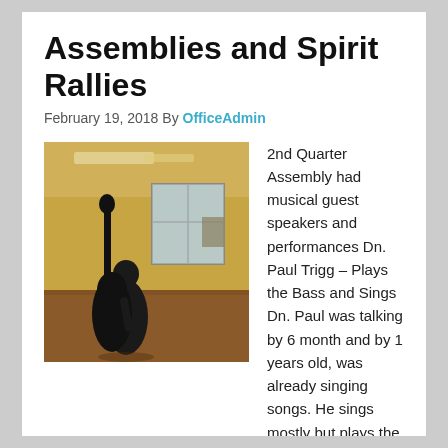Assemblies and Spirit Rallies
February 19, 2018 By OfficeAdmin
[Figure (photo): A person playing a large upright bass in a room with yellow walls, a window, and fluorescent ceiling lights. The image is taken from behind the musician.]
2nd Quarter Assembly had musical guest speakers and performances Dn. Paul Trigg – Plays the Bass and Sings Dn. Paul was talking by 6 month and by 1 years old, was already singing songs. He sings mostly but plays the bass to. Brought his […]